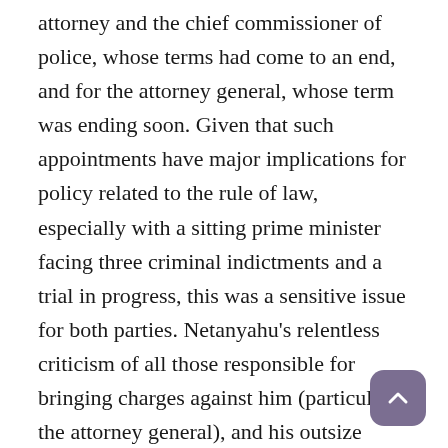attorney and the chief commissioner of police, whose terms had come to an end, and for the attorney general, whose term was ending soon. Given that such appointments have major implications for policy related to the rule of law, especially with a sitting prime minister facing three criminal indictments and a trial in progress, this was a sensitive issue for both parties. Netanyahu's relentless criticism of all those responsible for bringing charges against him (particularly the attorney general), and his outsize ability to influence the selection process, put Kahol Lavan in a difficult position: While it was able to prevent Netanyahu from being directly involved in the appointment of senior